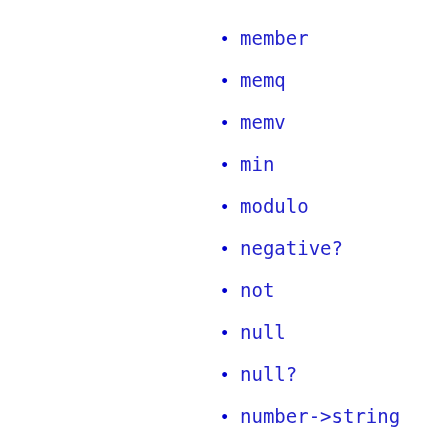member
memq
memv
min
modulo
negative?
not
null
null?
number->string
number?
numerator
odd?